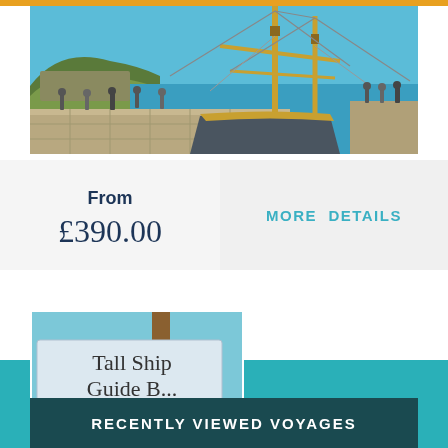[Figure (photo): Harbor scene with tall ship mast and rigging docked at a stone pier, rocky cliffs and clear blue sky in background, with people standing on the pier]
From
£390.00
MORE DETAILS
[Figure (photo): Tall Ship sign partially visible with blue sky and mast/rigging in background]
RECENTLY VIEWED VOYAGES